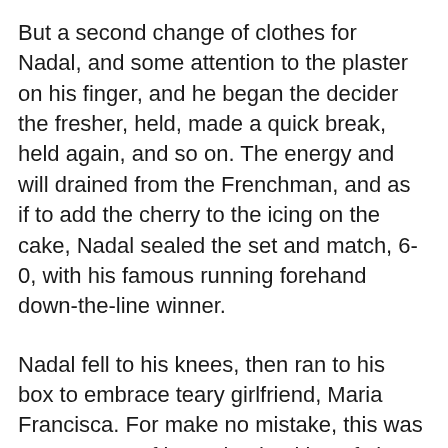But a second change of clothes for Nadal, and some attention to the plaster on his finger, and he began the decider the fresher, held, made a quick break, held again, and so on. The energy and will drained from the Frenchman, and as if to add the cherry to the icing on the cake, Nadal sealed the set and match, 6-0, with his famous running forehand down-the-line winner.
Nadal fell to his knees, then ran to his box to embrace teary girlfriend, Maria Francisca. For make no mistake, this was a statement of intent by the ‘king of clay’ after many trials and tribulations, and as a result perhaps one of his most emotional victories.